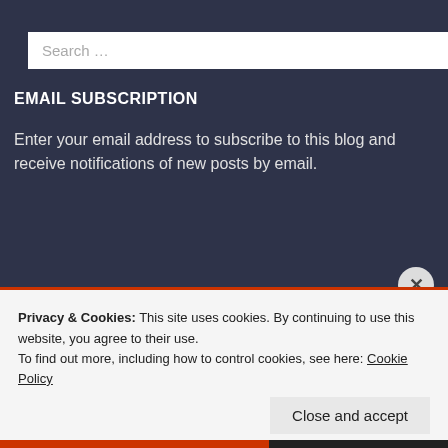Search …
EMAIL SUBSCRIPTION
Enter your email address to subscribe to this blog and receive notifications of new posts by email.
Enter your email address
SIGN ME UP!
Join 913 other followers
Privacy & Cookies: This site uses cookies. By continuing to use this website, you agree to their use.
To find out more, including how to control cookies, see here: Cookie Policy
Close and accept